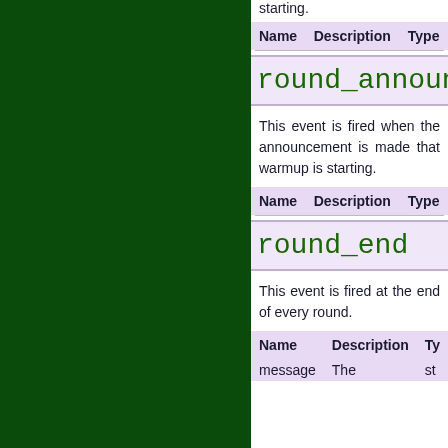starting.
| Name | Description | Type |
| --- | --- | --- |
round_announce_w
This event is fired when the announcement is made that warmup is starting.
| Name | Description | Type |
| --- | --- | --- |
round_end
This event is fired at the end of every round.
| Name | Description | Ty |
| --- | --- | --- |
| message | The | st |